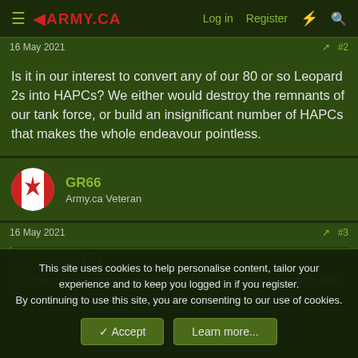ARMY.CA — Log in | Register
16 May 2021  #2
Is it in our interest to convert any of our 80 or so Leopard 2s into HAPCs? We either would destroy the remnants of our tank force, or build an insignificant number of HAPCs that makes the whole endeavour pointless.
GR66
Army.ca Veteran
16 May 2021  #3
medic5 said:
Is it in our interest to convert any of our 80 or so Leopard 2s into
This site uses cookies to help personalise content, tailor your experience and to keep you logged in if you register.
By continuing to use this site, you are consenting to our use of cookies.